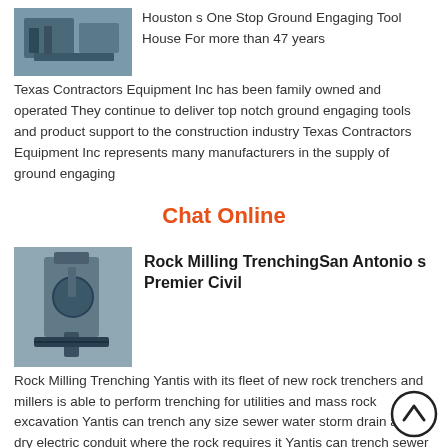[Figure (photo): Industrial equipment photo at top left]
Houston s One Stop Ground Engaging Tool House For more than 47 years Texas Contractors Equipment Inc has been family owned and operated They continue to deliver top notch ground engaging tools and product support to the construction industry Texas Contractors Equipment Inc represents many manufacturers in the supply of ground engaging
Chat Online
[Figure (photo): Rock milling / trenching machine photo]
Rock Milling TrenchingSan Antonio s Premier Civil
Rock Milling Trenching Yantis with its fleet of new rock trenchers and millers is able to perform trenching for utilities and mass rock excavation Yantis can trench any size sewer water storm drain and dry electric conduit where the rock requires it Yantis can trench sewer as deep as